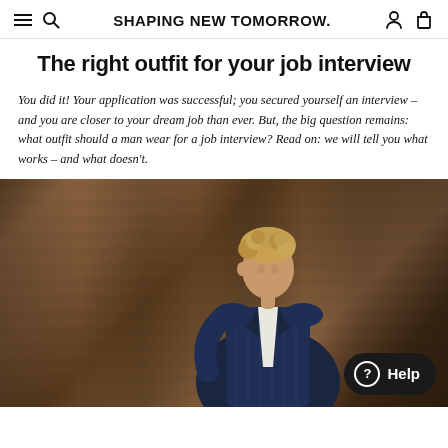SHAPING NEW TOMORROW.
The right outfit for your job interview
You did it! Your application was successful; you secured yourself an interview – and you are closer to your dream job than ever. But, the big question remains: what outfit should a man wear for a job interview? Read on: we will tell you what works – and what doesn't.
[Figure (photo): A man with curly hair wearing a dark navy pinstripe suit and white shirt, photographed in front of brown draped curtains, looking to the side]